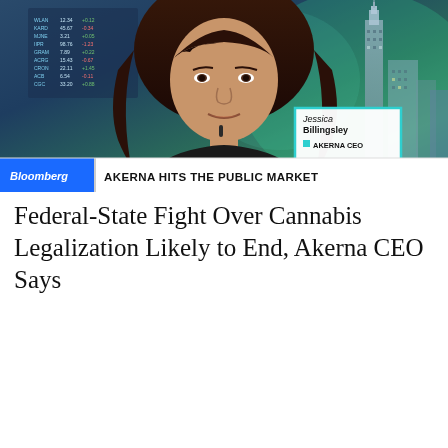[Figure (screenshot): Bloomberg TV screenshot showing Jessica Billingsley, Akerna CEO, being interviewed. Lower-third graphic reads 'Bloomberg / AKERNA HITS THE PUBLIC MARKET'. Name badge reads 'Jessica Billingsley / AKERNA CEO'.]
Federal-State Fight Over Cannabis Legalization Likely to End, Akerna CEO Says